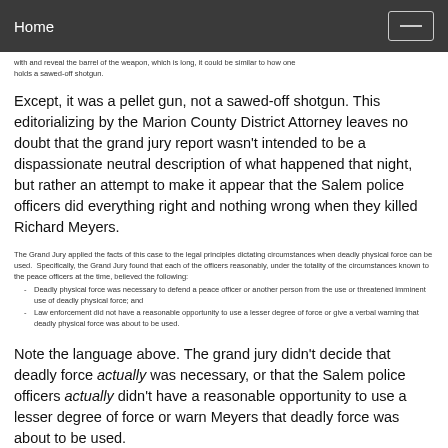Home
with and reveal the barrel of the weapon, which is long, it could be similar to how one holds a sawed-off shotgun.
Except, it was a pellet gun, not a sawed-off shotgun. This editorializing by the Marion County District Attorney leaves no doubt that the grand jury report wasn't intended to be a dispassionate neutral description of what happened that night, but rather an attempt to make it appear that the Salem police officers did everything right and nothing wrong when they killed Richard Meyers.
The Grand Jury applied the facts of this case to the legal principles dictating circumstances when deadly physical force can be used. Specifically, the Grand Jury found that each of the officers reasonably, under the totality of the circumstances known to the peace officers at the time, believed the following:
- Deadly physical force was necessary to defend a peace officer or another person from the use or threatened imminent use of deadly physical force; and
- Law enforcement did not have a reasonable opportunity to use a lesser degree of force or give a verbal warning that deadly physical force was about to be used.
Note the language above. The grand jury didn't decide that deadly force actually was necessary, or that the Salem police officers actually didn't have a reasonable opportunity to use a lesser degree of force or warn Meyers that deadly force was about to be used.